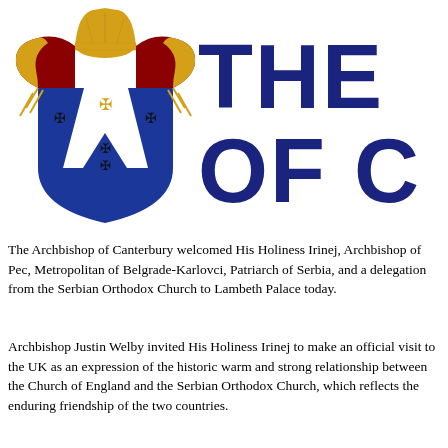[Figure (logo): Archbishop of Canterbury coat of arms / heraldic shield with bishop's mitre, gold and red robes, blue shield with gold and black crosses, white Y-shape with black crosses]
THE OF C
The Archbishop of Canterbury welcomed His Holiness Irinej, Archbishop of Pec, Metropolitan of Belgrade-Karlovci, Patriarch of Serbia, and a delegation from the Serbian Orthodox Church to Lambeth Palace today.
Archbishop Justin Welby invited His Holiness Irinej to make an official visit to the UK as an expression of the historic warm and strong relationship between the Church of England and the Serbian Orthodox Church, which reflects the enduring friendship of the two countries.